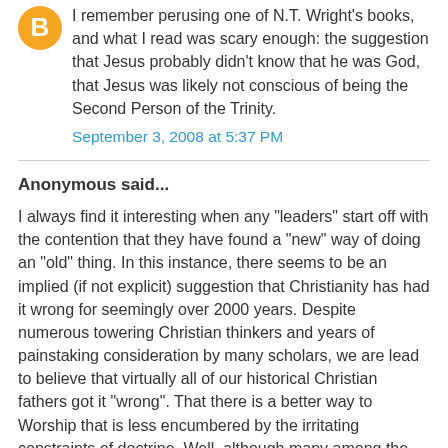I remember perusing one of N.T. Wright's books, and what I read was scary enough: the suggestion that Jesus probably didn't know that he was God, that Jesus was likely not conscious of being the Second Person of the Trinity.
September 3, 2008 at 5:37 PM
Anonymous said...
I always find it interesting when any "leaders" start off with the contention that they have found a "new" way of doing an "old" thing. In this instance, there seems to be an implied (if not explicit) suggestion that Christianity has had it wrong for seemingly over 2000 years. Despite numerous towering Christian thinkers and years of painstaking consideration by many scholars, we are lead to believe that virtually all of our historical Christian fathers got it "wrong". That there is a better way to Worship that is less encumbered by the irritating constraints of doctrine. Well, although many among the Emergent leadership would have us chart a different path for the Church, the question is to what degree